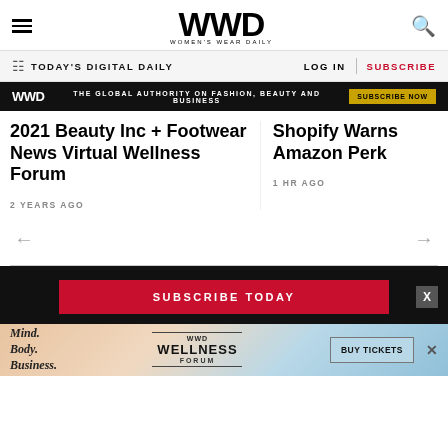WWD — WOMEN'S WEAR DAILY
TODAY'S DIGITAL DAILY   LOG IN   SUBSCRIBE
WWD — THE GLOBAL AUTHORITY ON FASHION, BEAUTY AND BUSINESS — SUBSCRIBE NOW
2021 Beauty Inc + Footwear News Virtual Wellness Forum
2 YEARS AGO
Shopify Warns Amazon Perk
1 HR AGO
SUBSCRIBE TODAY
[Figure (infographic): WWD Wellness Forum advertisement banner with Mind. Body. Business. text, WWD WELLNESS FORUM branding, and BUY TICKETS button]